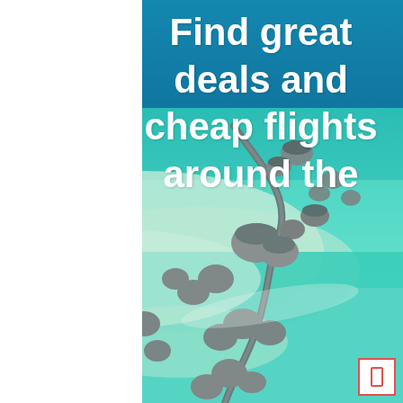[Figure (photo): Aerial photograph of overwater bungalows connected by winding wooden walkways in a tropical turquoise lagoon, resembling a Maldives resort. The water is a vivid teal-green color with sandy shallows visible beneath. Deep blue ocean and sky are visible at the top of the image.]
Find great deals and cheap flights around the